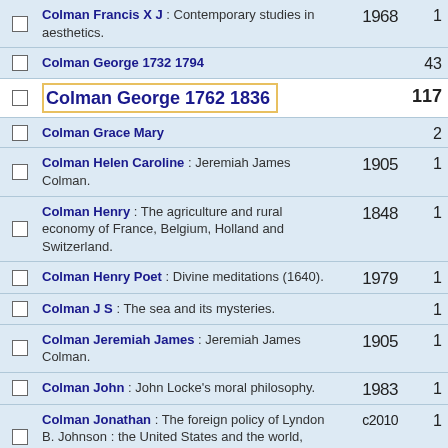Colman Francis X J : Contemporary studies in aesthetics. 1968 1
Colman George 1732 1794 43
Colman George 1762 1836 117
Colman Grace Mary 2
Colman Helen Caroline : Jeremiah James Colman. 1905 1
Colman Henry : The agriculture and rural economy of France, Belgium, Holland and Switzerland. 1848 1
Colman Henry Poet : Divine meditations (1640). 1979 1
Colman J S : The sea and its mysteries. 1
Colman Jeremiah James : Jeremiah James Colman. 1905 1
Colman John : John Locke's moral philosophy. 1983 1
Colman Jonathan : The foreign policy of Lyndon B. Johnson : the United States and the world, 1963-69 / Jonathan Colman. c2010 1
Colman Marshall : Continuous excursions : politics and personal life. 1982 1
Colman Morgan 2
Colman Olivia 2